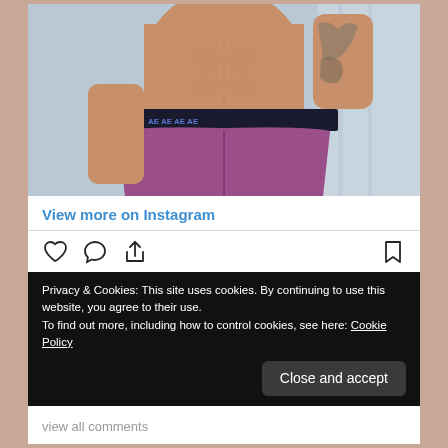[Figure (photo): Man wearing purple/magenta AE boxer briefs, torso and lower body visible, tattoo on arm, light blue/grey background]
View more on Instagram
379 likes
menandunderwear
Privacy & Cookies: This site uses cookies. By continuing to use this website, you agree to their use.
To find out more, including how to control cookies, see here: Cookie Policy
view all comments